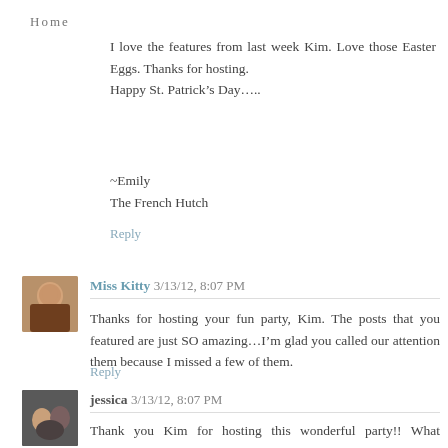Home
I love the features from last week Kim. Love those Easter Eggs. Thanks for hosting.
Happy St. Patrick’s Day…..
~Emily
The French Hutch
Reply
[Figure (photo): Avatar photo of Miss Kitty, a woman smiling]
Miss Kitty 3/13/12, 8:07 PM
Thanks for hosting your fun party, Kim. The posts that you featured are just SO amazing...I’m glad you called our attention them because I missed a few of them.
Reply
[Figure (photo): Avatar photo of jessica, a group of people]
jessica 3/13/12, 8:07 PM
Thank you Kim for hosting this wonderful party!! What awesome features from last week!!